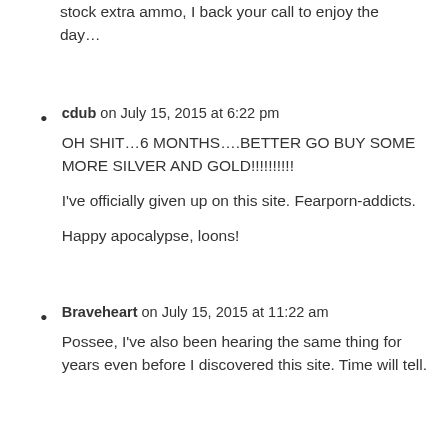stock extra ammo, I back your call to enjoy the day…
cdub on July 15, 2015 at 6:22 pm
OH SHIT…6 MONTHS….BETTER GO BUY SOME MORE SILVER AND GOLD!!!!!!!!!!  I've officially given up on this site. Fearporn-addicts.  Happy apocalypse, loons!
Braveheart on July 15, 2015 at 11:22 am
Possee, I've also been hearing the same thing for years even before I discovered this site. Time will tell.